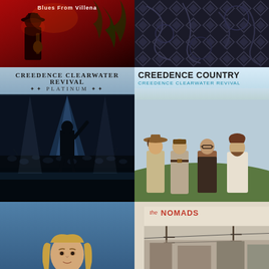[Figure (photo): Album cover with red background showing silhouette figure and palm fronds, text 'Blues From Villena' at top]
[Figure (photo): Album cover with dark geometric/tribal pattern in black and grey]
[Figure (photo): Creedence Clearwater Revival Platinum album cover with concert photo of performer on stage with crowd, light blue header band with text]
[Figure (photo): Creedence Country - Creedence Clearwater Revival album cover showing four band members standing in a field wearing country attire]
[Figure (photo): Solo artist portrait on blue background - young man with long blonde hair wearing black leather jacket and red shirt]
[Figure (photo): The Nomads album cover with red/white logo text and photo of parking lot with cars and telephone poles]